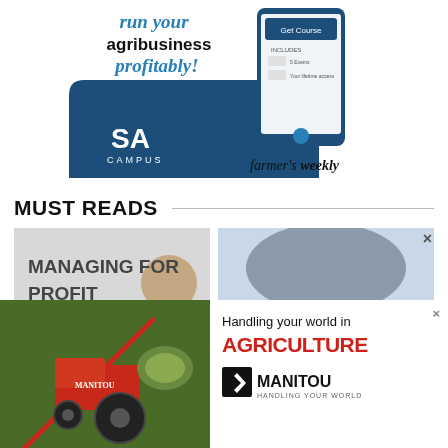[Figure (illustration): SA Campus / Farmer's Weekly advertisement showing 'run your agribusiness profitably!' text with a phone mockup and SA Campus logo on dark blue background]
MUST READS
[Figure (illustration): Farmer's Weekly 'Managing for Profit' book/magazine cover with a man's portrait on grey background]
[Figure (photo): African savanna landscape with mountain in background]
[Figure (illustration): Manitou advertisement overlay: red tractor on left, 'Handling your world in AGRICULTURE' text and Manitou logo on right white panel]